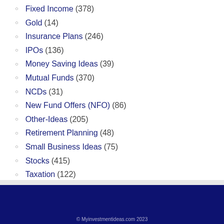Fixed Income (378)
Gold (14)
Insurance Plans (246)
IPOs (136)
Money Saving Ideas (39)
Mutual Funds (370)
NCDs (31)
New Fund Offers (NFO) (86)
Other-Ideas (205)
Retirement Planning (48)
Small Business Ideas (75)
Stocks (415)
Taxation (122)
© Myinvestmentideas.com 2023